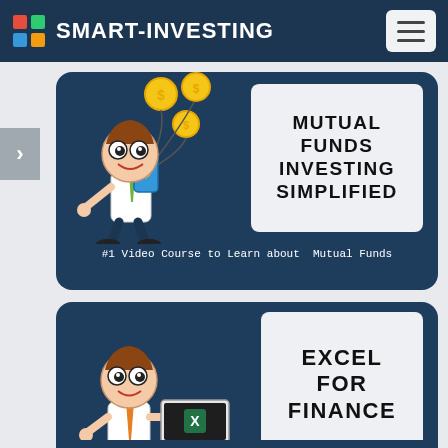SMART-INVESTING
[Figure (illustration): Cartoon character holding a phone with dollar sign, coins flying around, next to a text box reading MUTUAL FUNDS INVESTING SIMPLIFIED, with caption: #1 Video Course to Learn about Mutual Funds]
[Figure (illustration): Cartoon character holding a laptop showing Excel icon, next to a text box reading EXCEL FOR FINANCE, with caption: #1 Video Course to Learn about Excel for Financial Modelling & Valuation]